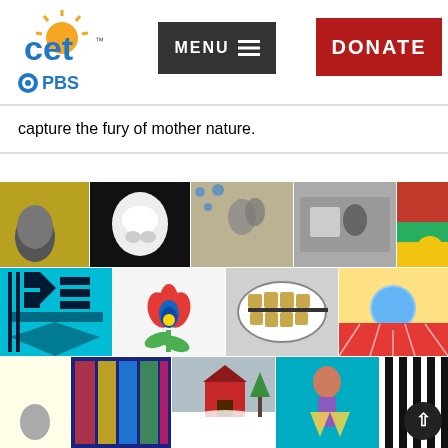[Figure (logo): CET PBS logo — CET in blue with yellow sun graphic and TM mark, PBS logo below in blue]
[Figure (screenshot): Dark grey MENU button with hamburger icon lines]
[Figure (screenshot): Red DONATE button]
capture the fury of mother nature.
[Figure (photo): Gallery grid of artwork images: row 1 — yellow background fist, black background white sculpture, blue-toned couple artwork, greyscale bus scene, red/green abstract; row 2 — cyan tribal pattern, white background red/blue tulip illustration, grey dental grillz photo, yellow/red sunrise with blue circle; row 3 — yellow/dark partial images, colorful abstract, red barn in snow, colorful figure, black/white zebra pattern]